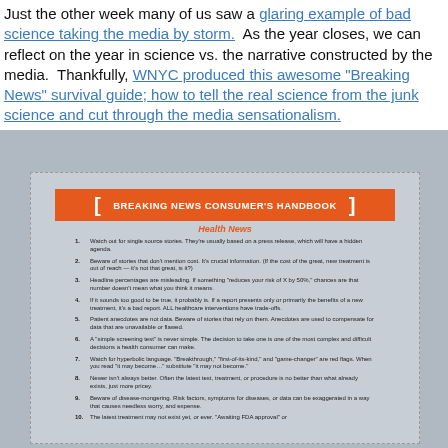Just the other week many of us saw a glaring example of bad science taking the media by storm. As the year closes, we can reflect on the year in science vs. the narrative constructed by the media. Thankfully, WNYC produced this awesome "Breaking News" survival guide; how to tell the real science from the junk science and cut through the media sensationalism.
[Figure (infographic): Breaking News Consumer's Handbook — Health News infographic listing 10 tips for evaluating health news stories, produced by WNYC. Orange title bar with bracketed title text, subtitle 'Health News' in orange italic, numbered list items in small dark text on grey background.]